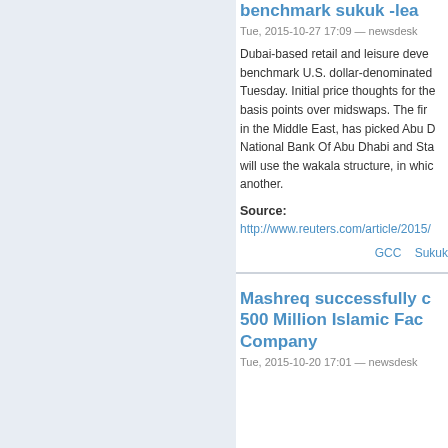benchmark sukuk -lea
Tue, 2015-10-27 17:09 — newsdesk
Dubai-based retail and leisure devel benchmark U.S. dollar-denominated Tuesday. Initial price thoughts for the basis points over midswaps. The fir in the Middle East, has picked Abu D National Bank Of Abu Dhabi and Sta will use the wakala structure, in whic another.
Source:
http://www.reuters.com/article/2015/
GCC   Sukuk
Mashreq successfully c 500 Million Islamic Fac Company
Tue, 2015-10-20 17:01 — newsdesk